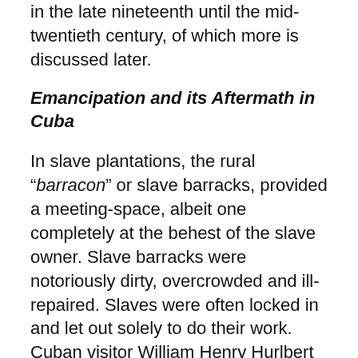in the late nineteenth until the mid-twentieth century, of which more is discussed later.
Emancipation and its Aftermath in Cuba
In slave plantations, the rural “barracon” or slave barracks, provided a meeting-space, albeit one completely at the behest of the slave owner. Slave barracks were notoriously dirty, overcrowded and ill-repaired. Slaves were often locked in and let out solely to do their work. Cuban visitor William Henry Hurlbert commented, “Even on the best of the great estates, from November to May, the negroes are required to work sixteen to